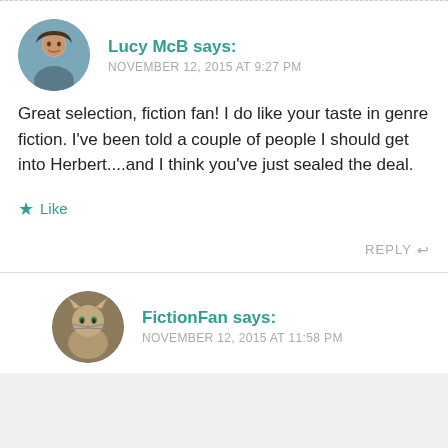Lucy McB says: NOVEMBER 12, 2015 AT 9:27 PM
Great selection, fiction fan! I do like your taste in genre fiction. I've been told a couple of people I should get into Herbert....and I think you've just sealed the deal.
Like
REPLY
FictionFan says: NOVEMBER 12, 2015 AT 11:58 PM